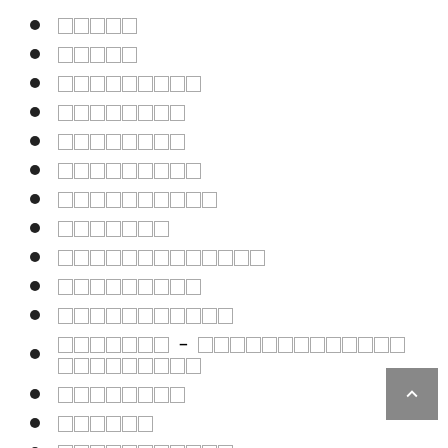[tofu 5 chars]
[tofu 5 chars]
[tofu 9 chars]
[tofu 8 chars]
[tofu 8 chars]
[tofu 9 chars]
[tofu 10 chars]
[tofu 7 chars]
[tofu 13 chars]
[tofu 9 chars]
[tofu 11 chars]
[tofu 7 chars] – [tofu 22 chars]
[tofu 8 chars]
[tofu 6 chars]
[tofu 11 chars]
[tofu 12 chars]